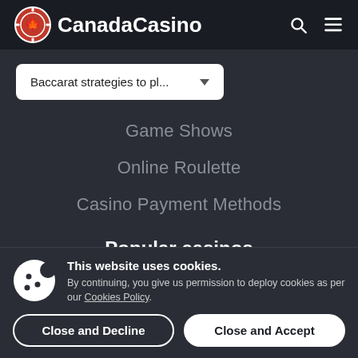CanadaCasino
Baccarat strategies to pl...
Game Shows
Online Roulette
Casino Payment Methods
Popular casinos
Rizk
This website uses cookies. By continuing, you give us permission to deploy cookies as per our Cookies Policy.
Close and Decline
Close and Accept